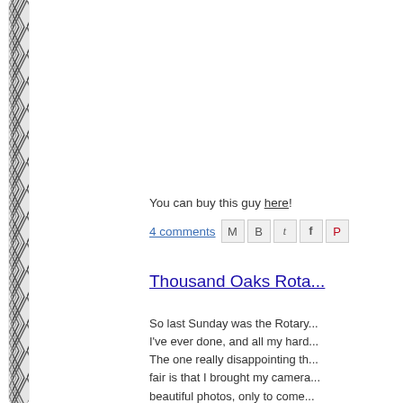[Figure (illustration): A twisted rope or cable rendered in black and white diagonal hatching pattern, positioned as a vertical stripe on the left side of the page.]
You can buy this guy here!
4 comments [social sharing icons: email, blogger, twitter, facebook, pinterest]
Thousand Oaks Rota...
So last Sunday was the Rotary... I've ever done, and all my hard... The one really disappointing th... fair is that I brought my camera... beautiful photos, only to come... that I had forgotten to put a me... camera... *facepalm. I feel so c... caught a bit of luck and took a... Those who showed up also go... some of the new hats I'm goin...